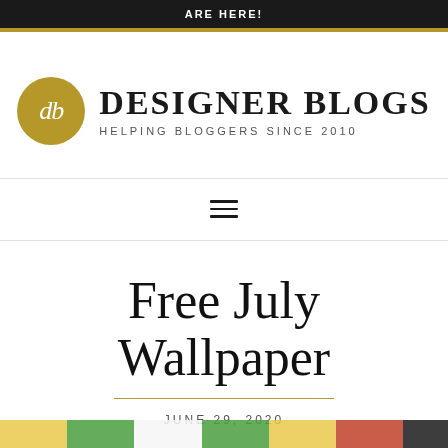ARE HERE!
[Figure (logo): Designer Blogs logo: gold circle with cursive 'db' initials, beside bold serif text 'DESIGNER BLOGS' with subtitle 'HELPING BLOGGERS SINCE 2010']
[Figure (other): Hamburger menu icon (three horizontal lines)]
Free July Wallpaper
JUNE 29, 2020
[Figure (other): Colorful decorative image strip at bottom of page with gold, green, white, and red sections]